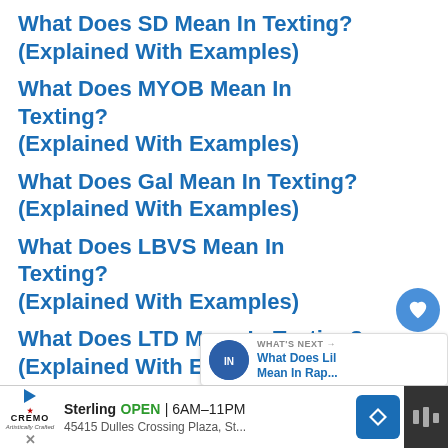What Does SD Mean In Texting? (Explained With Examples)
What Does MYOB Mean In Texting? (Explained With Examples)
What Does Gal Mean In Texting? (Explained With Examples)
What Does LBVS Mean In Texting? (Explained With Examples)
What Does LTD Mean In Texting? (Explained With Examples)
What Does IMS Mean In Texting?
[Figure (screenshot): Floating action buttons: heart icon with count 1 and share icon]
[Figure (screenshot): What's Next widget showing What Does Lil Mean In Rap...]
[Figure (screenshot): Ad banner for Cremo/Sterling showing Open 6AM-11PM, 45415 Dulles Crossing Plaza, St...]